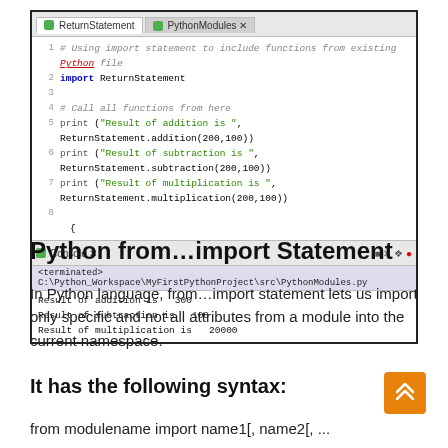[Figure (screenshot): Eclipse IDE editor showing PythonModules.py code with import statement and print calls, plus Console output showing Result of addition is 300, Result of subtraction is 100, Result of multiplication is 20000]
Python from…import Statement
In Python language, from…import statement lets us import only specific and not all attributes from a module into the current namespace.
It has the following syntax:
from modulename import name1[, name2[, ...